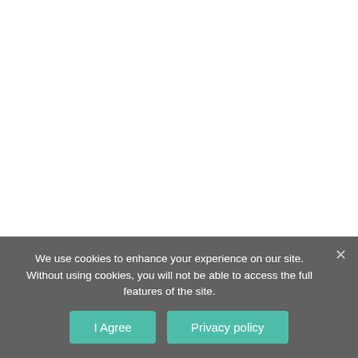We use cookies to enhance your experience on our site. Without using cookies, you will not be able to access the full features of the site.
I Agree
Privacy policy